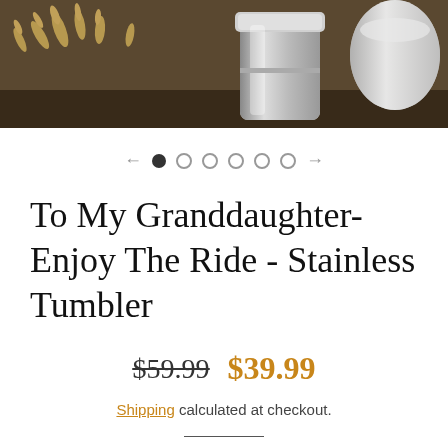[Figure (photo): Product photo of a stainless steel tumbler with wheat/grain decoration in background on a wooden surface]
To My Granddaughter- Enjoy The Ride - Stainless Tumbler
$59.99 $39.99
Shipping calculated at checkout.
ADD TO CART